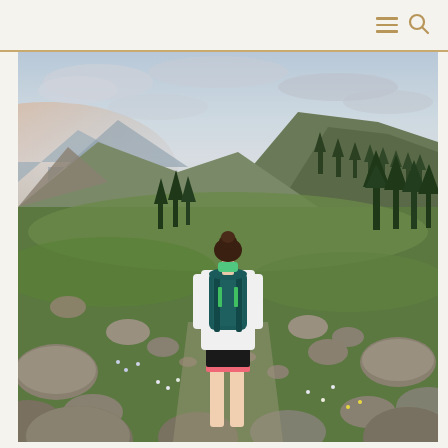Navigation bar with hamburger menu and search icon
[Figure (photo): A woman seen from behind, wearing a white long-sleeve shirt, black and pink shorts, and a teal backpack with green accents, standing on a rocky alpine meadow dotted with wildflowers and green grass. She is looking out over a sweeping mountain valley with evergreen trees, rocky slopes, and distant mountain ridges under a partly cloudy sky with a pinkish sunset glow on the left horizon.]